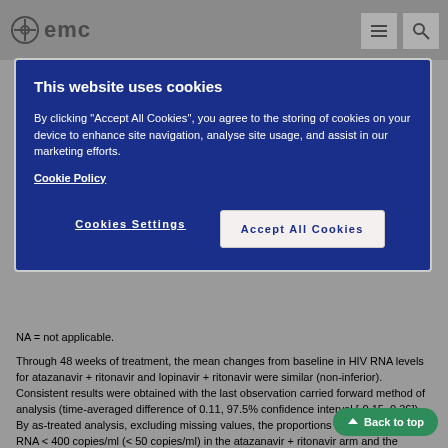emc
This website uses cookies
By clicking "Accept All Cookies", you agree to the storing of cookies on your device to enhance site navigation, analyse site usage, and assist in our marketing efforts. Cookie Policy
Cookies Settings | Accept All Cookies
NA = not applicable.
Through 48 weeks of treatment, the mean changes from baseline in HIV RNA levels for atazanavir + ritonavir and lopinavir + ritonavir were similar (non-inferior). Consistent results were obtained with the last observation carried forward method of analysis (time-averaged difference of 0.11, 97.5% confidence interval [-0.15, 0.36]). By as-treated analysis, excluding missing values, the proportions of patients with HIV RNA < 400 copies/ml (< 50 copies/ml) in the atazanavir + ritonavir arm and the lopinavir + ritonavir arm were 55% (40%) and 56% (46%), respectively.
Through 96 weeks of treatment, mean HIV RNA changes from atazanavir + ritonavir and lopinavir + ritonavir met criteria for non-inferiority